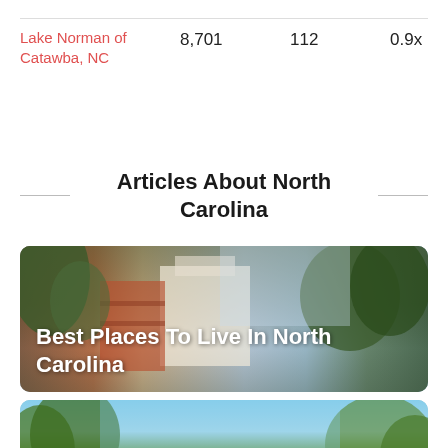| Lake Norman of Catawba, NC | 8,701 | 112 | 0.9x |
Articles About North Carolina
[Figure (photo): Photo of historic buildings and trees with text overlay: Best Places To Live In North Carolina]
[Figure (photo): Photo of trees against blue sky with text overlay: Cheapest Places To Live In]